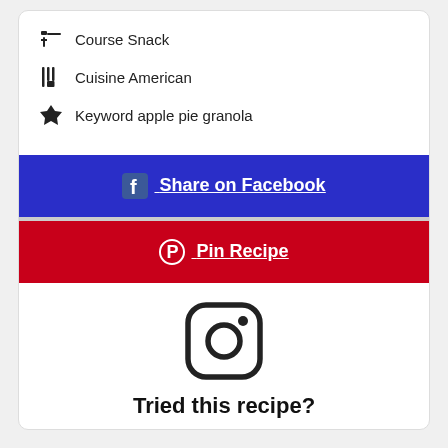Course Snack
Cuisine American
Keyword apple pie granola
[Figure (other): Blue Share on Facebook button with Facebook logo icon]
[Figure (other): Red Pin Recipe button with Pinterest logo icon]
[Figure (logo): Instagram logo icon (camera outline)]
Tried this recipe?
Mention @midgetmomma or tag #MidgetMommaRecipes